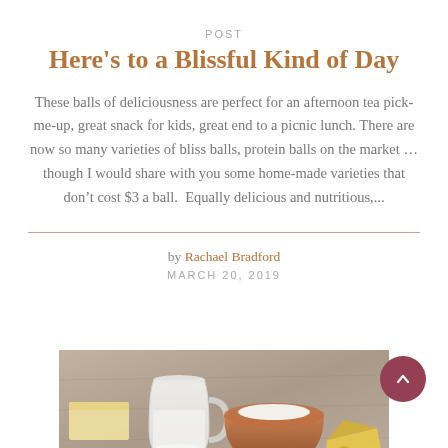POST
Here’s to a Blissful Kind of Day
These balls of deliciousness are perfect for an afternoon tea pick-me-up, great snack for kids, great end to a picnic lunch. There are now so many varieties of bliss balls, protein balls on the market … though I would share with you some home-made varieties that don’t cost $3 a ball.  Equally delicious and nutritious,...
by Rachael Bradford
MARCH 20, 2019
[Figure (photo): Photo of dairy items on a wooden table including a glass jug of milk, a brown ceramic bowl with cream or dip, cheese, and butter]